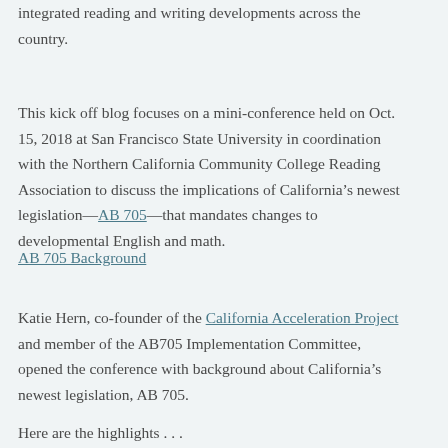integrated reading and writing developments across the country.
This kick off blog focuses on a mini-conference held on Oct. 15, 2018 at San Francisco State University in coordination with the Northern California Community College Reading Association to discuss the implications of California’s newest legislation—AB 705—that mandates changes to developmental English and math.
AB 705 Background
Katie Hern, co-founder of the California Acceleration Project and member of the AB705 Implementation Committee, opened the conference with background about California’s newest legislation, AB 705.
Here are the highlights . . .